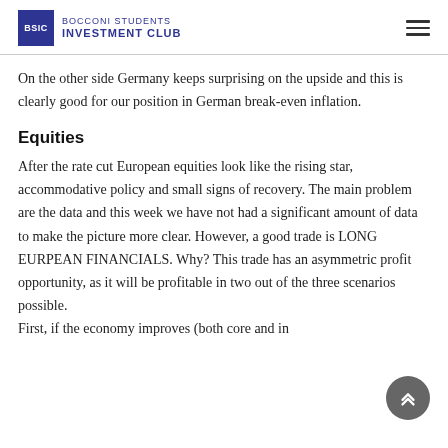BOCCONI STUDENTS INVESTMENT CLUB
On the other side Germany keeps surprising on the upside and this is clearly good for our position in German break-even inflation.
Equities
After the rate cut European equities look like the rising star, accommodative policy and small signs of recovery. The main problem are the data and this week we have not had a significant amount of data to make the picture more clear. However, a good trade is LONG EURPEAN FINANCIALS. Why? This trade has an asymmetric profit opportunity, as it will be profitable in two out of the three scenarios possible.
First, if the economy improves (both core and in